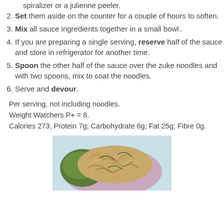spiralizer or a julienne peeler.
Set them aside on the counter for a couple of hours to soften.
Mix all sauce ingredients together in a small bowl..
If you are preparing a single serving, reserve half of the sauce and store in refrigerator for another time.
Spoon the other half of the sauce over the zuke noodles and with two spoons, mix to coat the noodles.
Serve and devour.
Per serving, not including noodles.
Weight Watchers P+ = 8.
Calories 273; Protein 7g; Carbohydrate 6g; Fat 25g; Fibre 0g.
[Figure (photo): A plate of zucchini noodles with sauce, served on a colorful plate with leafy greens]